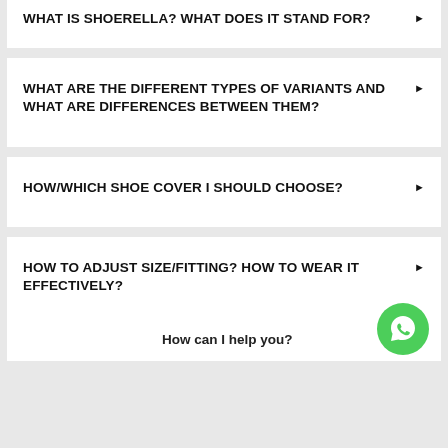WHAT IS SHOERELLA? WHAT DOES IT STAND FOR?
WHAT ARE THE DIFFERENT TYPES OF VARIANTS AND WHAT ARE DIFFERENCES BETWEEN THEM?
HOW/WHICH SHOE COVER I SHOULD CHOOSE?
HOW TO ADJUST SIZE/FITTING? HOW TO WEAR IT EFFECTIVELY?
How can I help you?